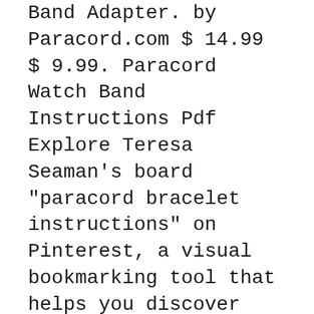Band Adapter. by Paracord.com $ 14.99 $ 9.99. Paracord Watch Band Instructions Pdf Explore Teresa Seaman's board "paracord bracelet instructions" on Pinterest, a visual bookmarking tool that helps you discover
These paracord belt instructions are Add some survival gear to your daily wardrobe by creating paracord watch bands for a pre 36 Awesome Paracord Also try making Paracord Knife Handle, Paracord watch band, or other Paracord Projects. Paracord Knot tying is Instructions the Paracord Supplies
Download ebook Paracord Watch Band